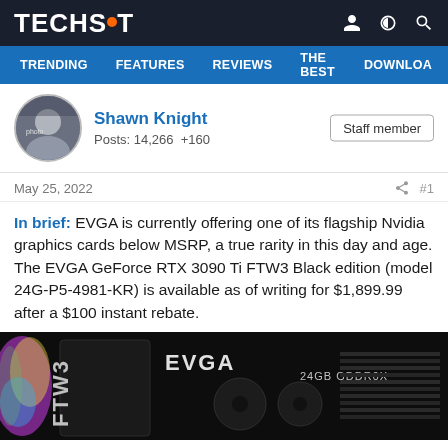TECHSPOT
TRENDING  FEATURES  REVIEWS  THE BEST  DOWNLOA
Shawn Knight
Posts: 14,266  +160
Staff member
May 25, 2022  #1
In brief: EVGA is currently offering one of its flagship Nvidia graphics cards below MSRP, a true rarity in this day and age. The EVGA GeForce RTX 3090 Ti FTW3 Black edition (model 24G-P5-4981-KR) is available as of writing for $1,899.99 after a $100 instant rebate.
[Figure (photo): EVGA GeForce RTX 3090 Ti FTW3 Black edition GPU box against a black background, showing EVGA logo, 24GB GDDR6X label, and FTW3 branding on the side]